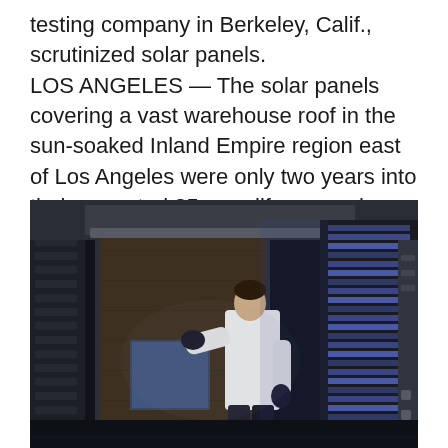testing company in Berkeley, Calif., scrutinized solar panels.
LOS ANGELES — The solar panels covering a vast warehouse roof in the sun-soaked Inland Empire region east of Los Angeles were only two years into their expected 25-year life span when they began to fail.
[Figure (photo): A person in a white lab coat and dark gloves examines a large solar panel inside a dimly lit industrial testing facility. The room contains metal structures, racks with panel-like elements on the right showing blue/purple light, and industrial equipment on the ceiling.]